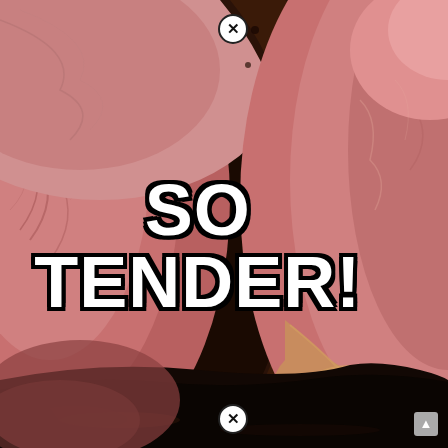[Figure (photo): Close-up photo of sliced cooked meat (beef roast or prime rib), showing pink interior, dark charred crust, and glossy juices, with white bold text overlay reading 'SO TENDER!']
SO TENDER!